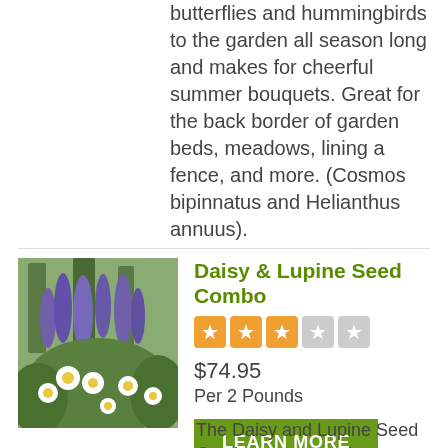butterflies and hummingbirds to the garden all season long and makes for cheerful summer bouquets. Great for the back border of garden beds, meadows, lining a fence, and more. (Cosmos bipinnatus and Helianthus annuus).
Daisy & Lupine Seed Combo
[Figure (photo): Garden photo showing purple lupine flowers and white daisy flowers with green foliage and trees in background]
$74.95
Per 2 Pounds
LEARN MORE
The Daisy and Lupine Seed Combo creates an instant cottage garden feel in any sunny spot in the